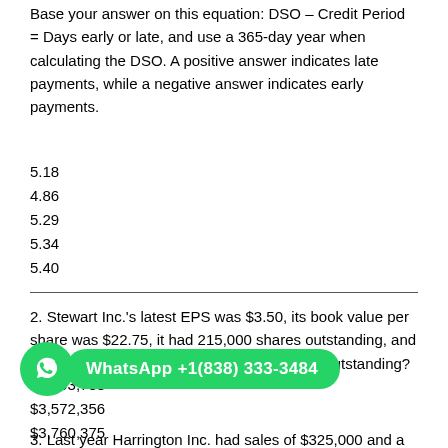Base your answer on this equation: DSO – Credit Period = Days early or late, and use a 365-day year when calculating the DSO. A positive answer indicates late payments, while a negative answer indicates early payments.
5.18
4.86
5.29
5.34
5.40
2. Stewart Inc.'s latest EPS was $3.50, its book value per share was $22.75, it had 215,000 shares outstanding, and its debt ratio was 46%. How much debt was outstanding?
$3,393,738
$3,572,356
$3,760,375
$3,958,289
$4,166,620
3. Last year Harrington Inc. had sales of $325,000 and a net